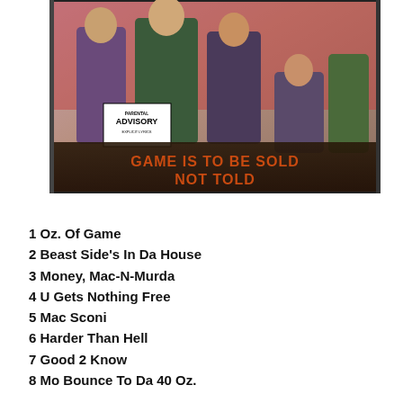[Figure (photo): CD album cover for 'Game Is To Be Sold Not Told' showing a group of people posing with a Parental Advisory Explicit Lyrics sticker visible, album title displayed in orange/red graffiti-style lettering at the bottom.]
1 Oz. Of Game
2 Beast Side's In Da House
3 Money, Mac-N-Murda
4 U Gets Nothing Free
5 Mac Sconi
6 Harder Than Hell
7 Good 2 Know
8 Mo Bounce To Da 40 Oz.